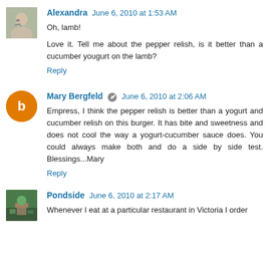Alexandra June 6, 2010 at 1:53 AM
Oh, lamb!
Love it. Tell me about the pepper relish, is it better than a cucumber yougurt on the lamb?
Reply
Mary Bergfeld June 6, 2010 at 2:06 AM
Empress, I think the pepper relish is better than a yogurt and cucumber relish on this burger. It has bite and sweetness and does not cool the way a yogurt-cucumber sauce does. You could always make both and do a side by side test. Blessings...Mary
Reply
Pondside June 6, 2010 at 2:17 AM
Whenever I eat at a particular restaurant in Victoria I order